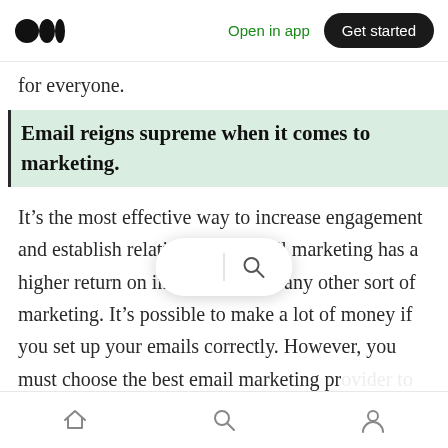Open in app | Get started
for everyone.
Email reigns supreme when it comes to marketing.
It’s the most effective way to increase engagement and establish relationships. Email marketing has a higher return on investment than any other sort of marketing. It’s possible to make a lot of money if you set up your emails correctly. However, you must choose the best email marketing provider to have a successful email marketing plan. Most importantly, It
[Home] [Search] [Profile]